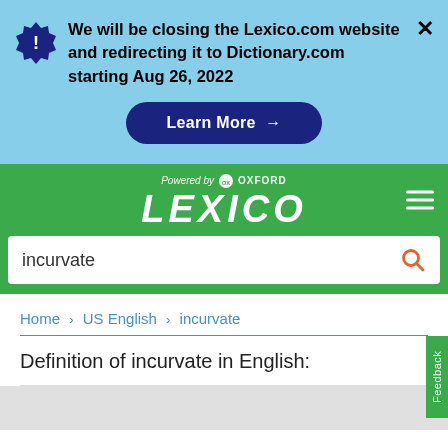We will be closing the Lexico.com website and redirecting it to Dictionary.com starting Aug 26, 2022
Learn More →
[Figure (logo): Lexico logo powered by Oxford, white text on green background]
incurvate
Home > US English > incurvate
Definition of incurvate in English: